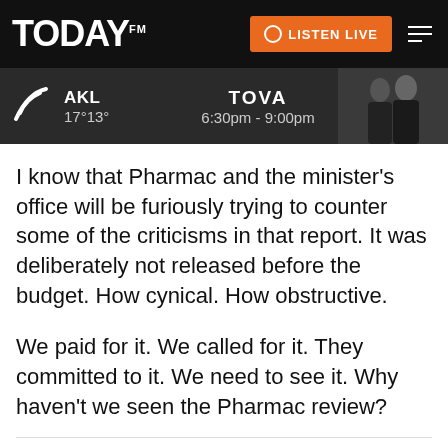TODAY FM — AKL 17°13° — TOVA 6:30pm - 9:00pm — LISTEN LIVE
I know that Pharmac and the minister's office will be furiously trying to counter some of the criticisms in that report. It was deliberately not released before the budget. How cynical. How obstructive.
We paid for it. We called for it. They committed to it. We need to see it. Why haven't we seen the Pharmac review?